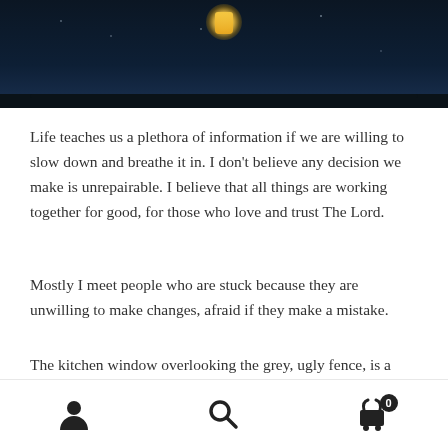[Figure (photo): Dark night sky photo, partial view showing a glowing lantern or light source near the top center against a dark navy/black background.]
Life teaches us a plethora of information if we are willing to slow down and breathe it in. I don’t believe any decision we make is unrepairable. I believe that all things are working together for good, for those who love and trust The Lord.
Mostly I meet people who are stuck because they are unwilling to make changes, afraid if they make a mistake.
The kitchen window overlooking the grey, ugly fence, is a monumental mistake in my books. The architect wouldn’t have known though that one day in 40 years time, a
Navigation bar with user icon, search icon, and cart icon with badge showing 0